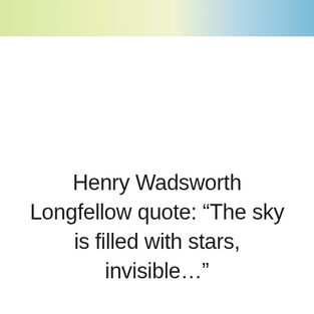Free-SpeakerQuoteCards.com
Henry Wadsworth Longfellow quote: “The sky is filled with stars, invisible…”